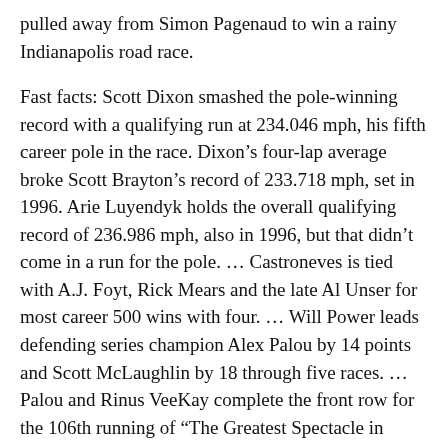pulled away from Simon Pagenaud to win a rainy Indianapolis road race.
Fast facts: Scott Dixon smashed the pole-winning record with a qualifying run at 234.046 mph, his fifth career pole in the race. Dixon's four-lap average broke Scott Brayton's record of 233.718 mph, set in 1996. Arie Luyendyk holds the overall qualifying record of 236.986 mph, also in 1996, but that didn't come in a run for the pole. ... Castroneves is tied with A.J. Foyt, Rick Mears and the late Al Unser for most career 500 wins with four. ... Will Power leads defending series champion Alex Palou by 14 points and Scott McLaughlin by 18 through five races. ... Palou and Rinus VeeKay complete the front row for the 106th running of “The Greatest Spectacle in Racing.”
Next race: June 5, Detroit.
Online: http://www.indycar.com